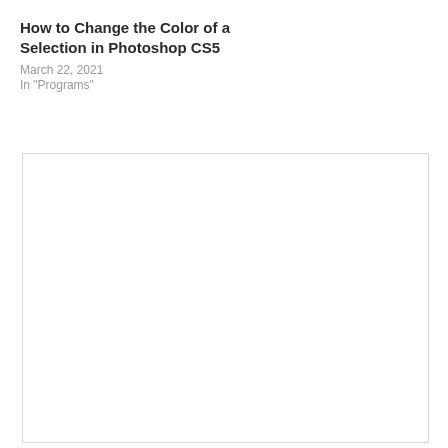How to Change the Color of a Selection in Photoshop CS5
March 22, 2021
In "Programs"
[Figure (other): Large empty white rectangle with light gray border, representing a placeholder image area.]